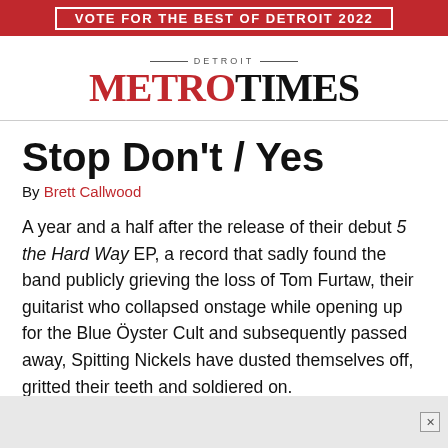VOTE FOR THE BEST OF DETROIT 2022
[Figure (logo): Detroit Metro Times logo — 'DETROIT' in small caps above 'METROTIMES' with METRO in red and TIMES in black, serif font]
Stop Don't / Yes
By Brett Callwood
A year and a half after the release of their debut 5 the Hard Way EP, a record that sadly found the band publicly grieving the loss of Tom Furtaw, their guitarist who collapsed onstage while opening up for the Blue Öyster Cult and subsequently passed away, Spitting Nickels have dusted themselves off, gritted their teeth and soldiered on.